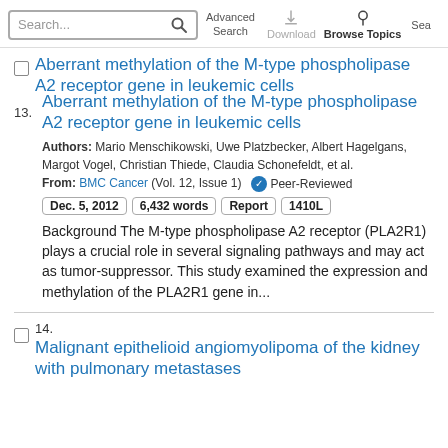Search... Advanced Search Download Browse Topics
Aberrant methylation of the M-type phospholipase A2 receptor gene in leukemic cells
Authors: Mario Menschikowski, Uwe Platzbecker, Albert Hagelgans, Margot Vogel, Christian Thiede, Claudia Schonefeldt, et al.
From: BMC Cancer (Vol. 12, Issue 1) ✓ Peer-Reviewed
Dec. 5, 2012  6,432 words  Report  1410L
Background The M-type phospholipase A2 receptor (PLA2R1) plays a crucial role in several signaling pathways and may act as tumor-suppressor. This study examined the expression and methylation of the PLA2R1 gene in...
Malignant epithelioid angiomyolipoma of the kidney with pulmonary metastases